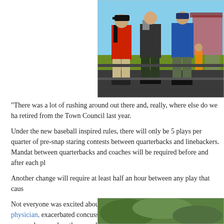[Figure (photo): Three young boys standing with their backs to the camera watching a baseball game from bleachers, wearing jackets. A bright sunny day with a stadium scoreboard visible in the background.]
“There was a lot of rushing around out there and, really, where else do we ha retired from the Town Council last year.
Under the new baseball inspired rules, there will only be 5 plays per quarter of pre-snap staring contests between quarterbacks and linebackers. Mandat between quarterbacks and coaches will be required before and after each pl
Another change will require at least half an hour between any play that caus
Not everyone was excited about the new rules. Dr. Jimmy, Coma physician, exacerbated concussion risks because bored and “zoning out” young players when the rare play begins.
[Figure (photo): Partial view of another photo at the bottom of the page showing green foliage/trees.]